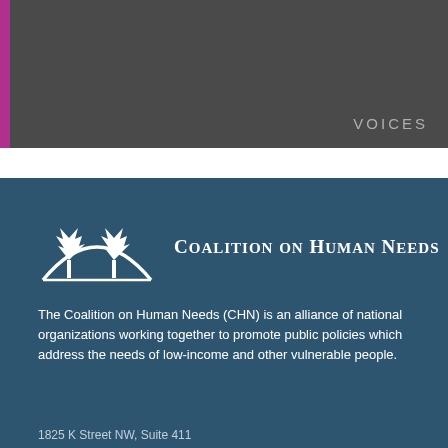VOICES
[Figure (logo): Coalition on Human Needs logo: white semicircle with tree silhouette]
Coalition on Human Needs
The Coalition on Human Needs (CHN) is an alliance of national organizations working together to promote public policies which address the needs of low-income and other vulnerable people.
1825 K Street NW, Suite 411